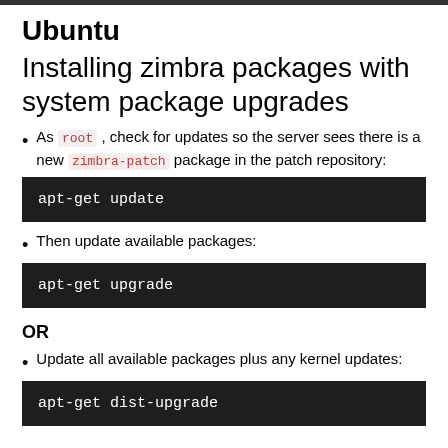Ubuntu
Installing zimbra packages with system package upgrades
As root , check for updates so the server sees there is a new zimbra-patch package in the patch repository:
apt-get update
Then update available packages:
apt-get upgrade
OR
Update all available packages plus any kernel updates:
apt-get dist-upgrade